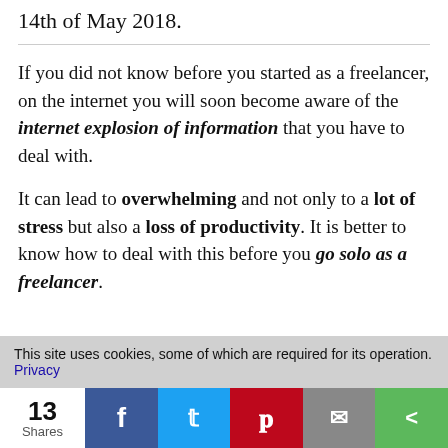14th of May 2018.
If you did not know before you started as a freelancer, on the internet you will soon become aware of the internet explosion of information that you have to deal with.
It can lead to overwhelming and not only to a lot of stress but also a loss of productivity. It is better to know how to deal with this before you go solo as a freelancer.
This site uses cookies, some of which are required for its operation. Privacy
13 Shares  f  t  p  mail  share